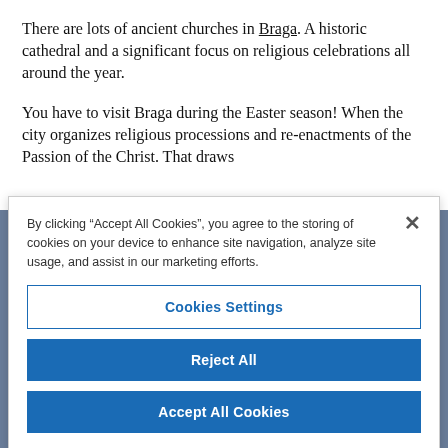There are lots of ancient churches in Braga. A historic cathedral and a significant focus on religious celebrations all around the year.
You have to visit Braga during the Easter season! When the city organizes religious processions and re-enactments of the Passion of the Christ. That draws
By clicking “Accept All Cookies”, you agree to the storing of cookies on your device to enhance site navigation, analyze site usage, and assist in our marketing efforts.
Cookies Settings
Reject All
Accept All Cookies